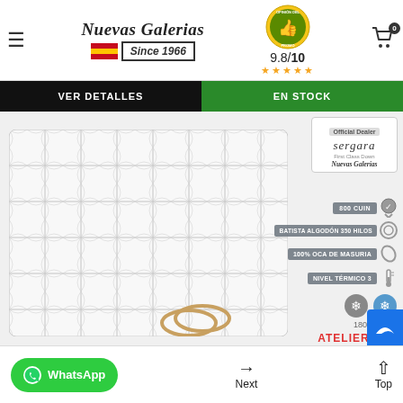Nuevas Galerias — Since 1966 — 9.8/10 rating
VER DETALLES
EN STOCK
[Figure (photo): White quilted duvet with feature labels: 800 CUIN, BATISTA ALGODÓN 350 HILOS, 100% OCA DE MASURIA, NIVEL TÉRMICO 3. Official Dealer badge for Sergara brand by Nuevas Galerias. Bottom shows 180 grs/m2 and ATELIER 800.]
WhatsApp  →  Next  ⌃  Top